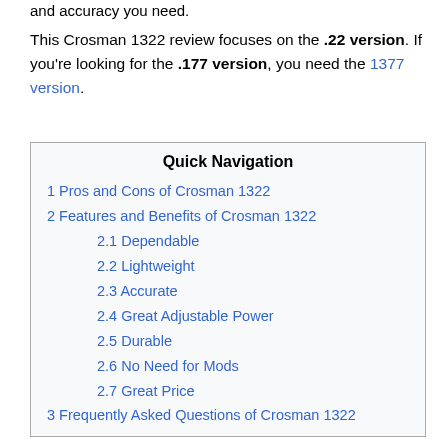and accuracy you need.
This Crosman 1322 review focuses on the .22 version. If you’re looking for the .177 version, you need the 1377 version.
Quick Navigation
1 Pros and Cons of Crosman 1322
2 Features and Benefits of Crosman 1322
2.1 Dependable
2.2 Lightweight
2.3 Accurate
2.4 Great Adjustable Power
2.5 Durable
2.6 No Need for Mods
2.7 Great Price
3 Frequently Asked Questions of Crosman 1322